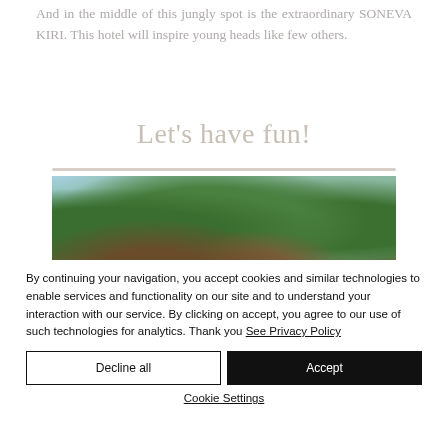And in the middle of this jungly spot is the extraordinary SONEVA KIRI. This hotel will inspire young heads like few others.
Let's have fun!
[Figure (photo): Photograph of a jungle/forest scene with lush green trees and foliage, with a rooftop of a building visible among the trees, under a blue sky.]
By continuing your navigation, you accept cookies and similar technologies to enable services and functionality on our site and to understand your interaction with our service. By clicking on accept, you agree to our use of such technologies for analytics. Thank you See Privacy Policy
Decline all
Accept
Cookie Settings